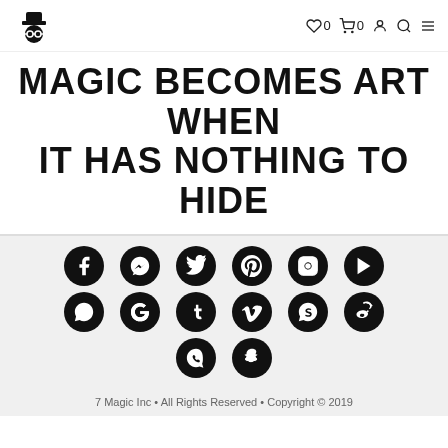7 Magic logo | heart 0 | cart 0 | account | search | menu
MAGIC BECOMES ART WHEN IT HAS NOTHING TO HIDE
[Figure (infographic): Grid of 14 social media icons (Facebook, Messenger, Twitter, Pinterest, Instagram, YouTube, WhatsApp, Google, Tumblr, Vimeo, Skype, Weibo, Viber, Snapchat) displayed as black circles with white logos in 3 rows.]
7 Magic Inc • All Rights Reserved • Copyright © 2019